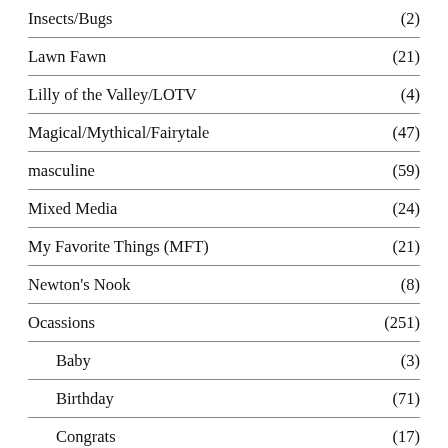Insects/Bugs (2)
Lawn Fawn (21)
Lilly of the Valley/LOTV (4)
Magical/Mythical/Fairytale (47)
masculine (59)
Mixed Media (24)
My Favorite Things (MFT) (21)
Newton's Nook (8)
Ocassions (251)
Baby (3)
Birthday (71)
Congrats (17)
Encouragement (59)